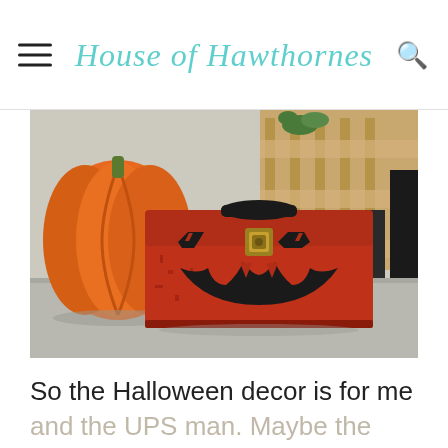House of Hawthornes
[Figure (photo): A vintage red metal toolbox decorated with a black jack-o-lantern face painted on the front, sitting on a concrete step. An orange pumpkin is visible on the left side, and wooden pallets are visible in the background.]
So the Halloween decor is for me and the UPS man. Maybe the people who drive past the house.